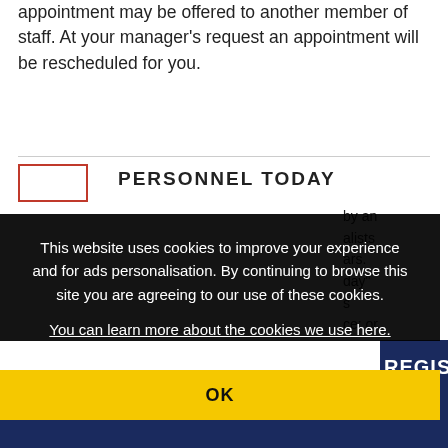appointment may be offered to another member of staff. At your manager's request an appointment will be rescheduled for you.
PERSONNEL TODAY
This website uses cookies to improve your experience and for ads personalisation. By continuing to browse this site you are agreeing to our use of these cookies.
You can learn more about the cookies we use here.
OK